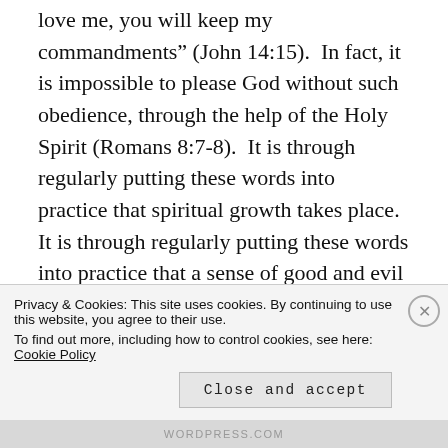love me, you will keep my commandments” (John 14:15). In fact, it is impossible to please God without such obedience, through the help of the Holy Spirit (Romans 8:7-8). It is through regularly putting these words into practice that spiritual growth takes place. It is through regularly putting these words into practice that a sense of good and evil is developed.
This is why the great education
Privacy & Cookies: This site uses cookies. By continuing to use this website, you agree to their use.
To find out more, including how to control cookies, see here: Cookie Policy
Close and accept